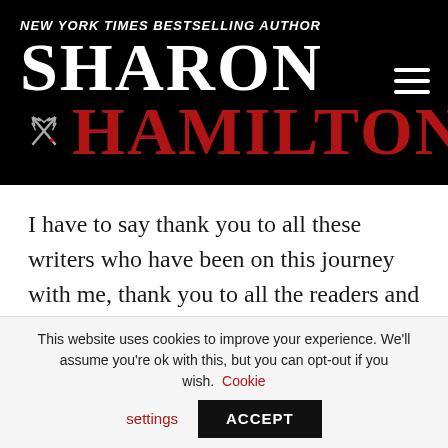NEW YORK TIMES BESTSELLING AUTHOR SHARON HAMILTON
I have to say thank you to all these writers who have been on this journey with me, thank you to all the readers and fans who bought my books, and to my creative coaches and artists I had the privilege to work with and for over the past year. I feel like
This website uses cookies to improve your experience. We'll assume you're ok with this, but you can opt-out if you wish. Cookie settings ACCEPT